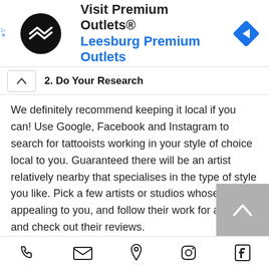[Figure (screenshot): Advertisement banner for Visit Premium Outlets® – Leesburg Premium Outlets with logo and navigation arrow icon]
2. Do Your Research
We definitely recommend keeping it local if you can! Use Google, Facebook and Instagram to search for tattooists working in your style of choice local to you. Guaranteed there will be an artist relatively nearby that specialises in the type of style you like. Pick a few artists or studios whose work is appealing to you, and follow their work for a while and check out their reviews.
[Figure (screenshot): Bottom navigation bar with phone, email, location, Instagram, and Facebook icons]